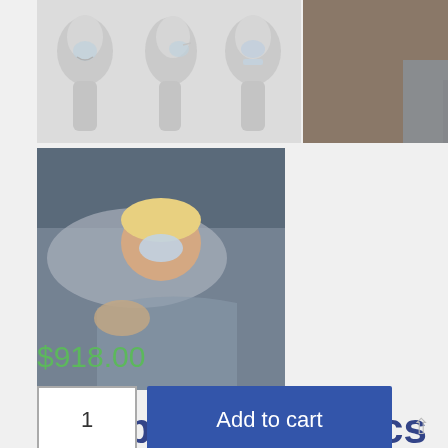[Figure (photo): Product thumbnail images: three white mannequin heads wearing nasal CPAP masks shown from different angles, and a person sleeping with CPAP mask]
[Figure (photo): Woman sleeping on pillow wearing a nasal CPAP mask, lifestyle product photo]
Philips Respironics DreamWear Nasal
$918.00
1
Add to cart